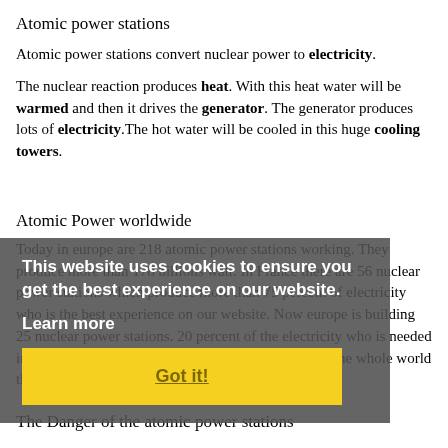Atomic power stations
Atomic power stations convert nuclear power to electricity.
The nuclear reaction produces heat. With this heat water will be warmed and then it drives the generator. The generator produces lots of electricity.The hot water will be cooled in this huge cooling towers.
Atomic Power worldwide
Today in europe are 218 atomic power stations working. They produce more than 178 billions watt. In France there are 56 nuclear power stations which produce more than 75 percent of electricity who is the best experience on our website. Now europe is building 25 nuclear power stations. 20 percent of the electricity who is needed in europe is produced by the nuclear fission. Now in the whole world there are 442 nuclear power stations working.
[Figure (infographic): Cookie consent overlay with gray background. Text: 'This website uses cookies to ensure you get the best experience on our website.' with 'Learn more' link and 'Got it!' yellow button.]
The Danger of the atomic power stations